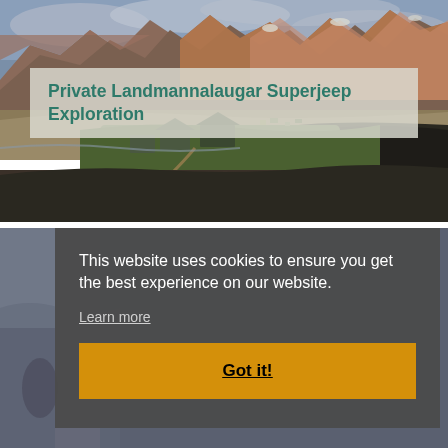[Figure (photo): Aerial view of Landmannalaugar highland area in Iceland with colorful rhyolite mountains in the background, green valley floor with camp buildings and campsite visible in the middle ground]
Private Landmannalaugar Superjeep Exploration
[Figure (photo): Partially visible second photo below, showing a dark outdoor scene, obscured by cookie consent overlay]
This website uses cookies to ensure you get the best experience on our website.
Learn more
Got it!